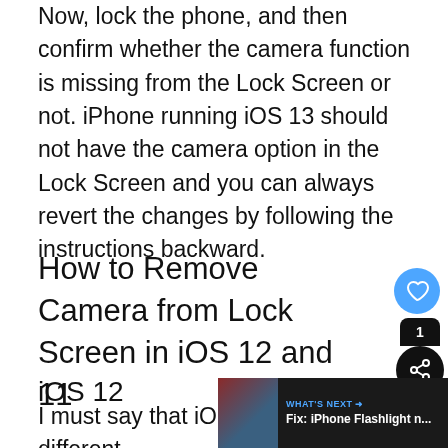Now, lock the phone, and then confirm whether the camera function is missing from the Lock Screen or not. iPhone running iOS 13 should not have the camera option in the Lock Screen and you can always revert the changes by following the instructions backward.
How to Remove Camera from Lock Screen in iOS 12 and 11
iOS 12
I must say that iOS 12 has different when it comes to removing functions from